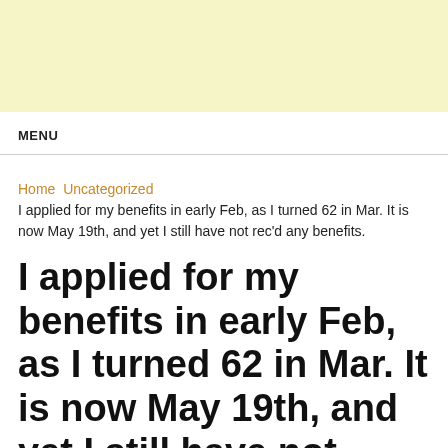[Figure (other): Light yellow banner area at top of page]
MENU
Home   Uncategorized
I applied for my benefits in early Feb, as I turned 62 in Mar. It is now May 19th, and yet I still have not rec'd any benefits.
I applied for my benefits in early Feb, as I turned 62 in Mar. It is now May 19th, and yet I still have not rec'd any benefits.